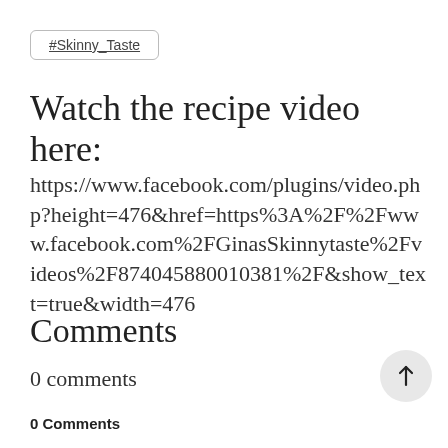#Skinny_Taste
Watch the recipe video here:
https://www.facebook.com/plugins/video.php?height=476&href=https%3A%2F%2Fwww.facebook.com%2FGinasSkinnytaste%2Fvideos%2F874045880010381%2F&show_text=true&width=476
Comments
0 comments
0 Comments